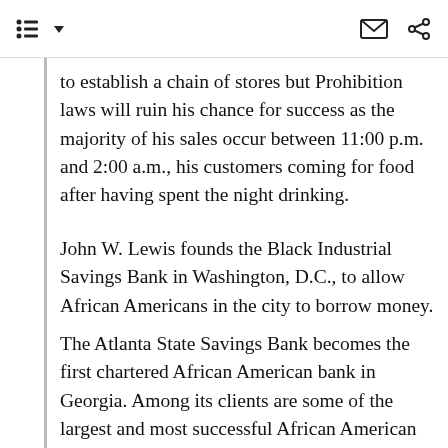[Navigation icons: list view, dropdown arrow, envelope, share]
to establish a chain of stores but Prohibition laws will ruin his chance for success as the majority of his sales occur between 11:00 p.m. and 2:00 a.m., his customers coming for food after having spent the night drinking.
John W. Lewis founds the Black Industrial Savings Bank in Washington, D.C., to allow African Americans in the city to borrow money.
The Atlanta State Savings Bank becomes the first chartered African American bank in Georgia. Among its clients are some of the largest and most successful African American businesses in the region, including Atlanta Mutual, North Carolina Mutual, Pilgrim Health and Life, and Standard Life Insurance.
The National Negro Insurance Association